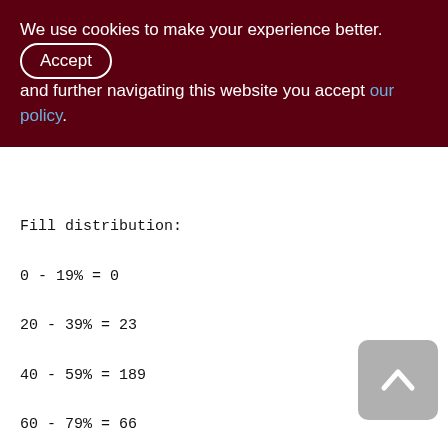We use cookies to make your experience better. By accepting and further navigating this website you accept our policy.
Fill distribution:
0 - 19% = 0
20 - 39% = 23
40 - 59% = 189
60 - 79% = 66
80 - 99% = 22
Index PDISTR_SNDOP_RCVOP_SNDID_ASC (2)
Root page: 4281, depth: 2, leaf buckets: 327, nodes: 290654
Average node length: 5.77, total dup. 260231, max dup: 43
Average key length: 3.03, compression